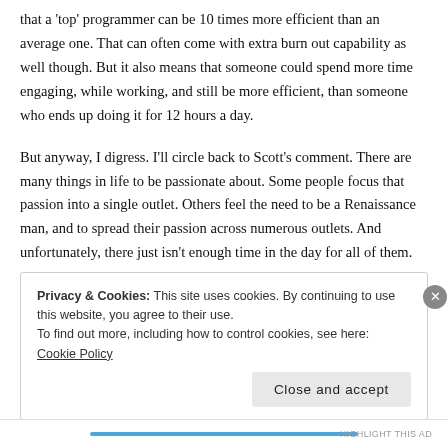that a 'top' programmer can be 10 times more efficient than an average one. That can often come with extra burn out capability as well though. But it also means that someone could spend more time engaging, while working, and still be more efficient, than someone who ends up doing it for 12 hours a day.
But anyway, I digress. I'll circle back to Scott's comment. There are many things in life to be passionate about. Some people focus that passion into a single outlet. Others feel the need to be a Renaissance man, and to spread their passion across numerous outlets. And unfortunately, there just isn't enough time in the day for all of them.
Privacy & Cookies: This site uses cookies. By continuing to use this website, you agree to their use.
To find out more, including how to control cookies, see here: Cookie Policy
Close and accept